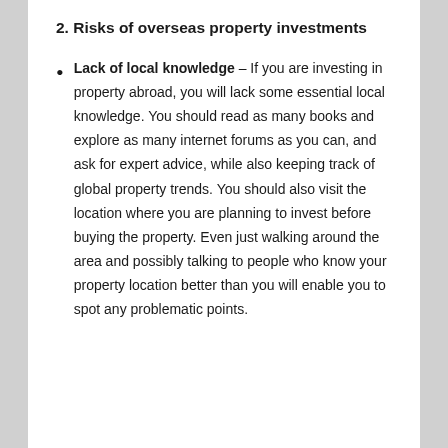2. Risks of overseas property investments
Lack of local knowledge – If you are investing in property abroad, you will lack some essential local knowledge. You should read as many books and explore as many internet forums as you can, and ask for expert advice, while also keeping track of global property trends. You should also visit the location where you are planning to invest before buying the property. Even just walking around the area and possibly talking to people who know your property location better than you will enable you to spot any problematic points.